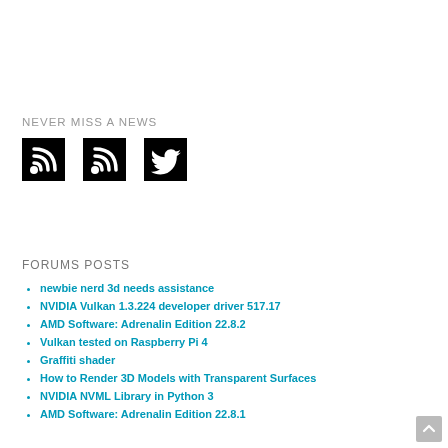NEVER MISS A NEWS
[Figure (screenshot): Three black icon boxes: two RSS feed icons and one Twitter bird icon, displayed in a row]
FORUMS POSTS
newbie nerd 3d needs assistance
NVIDIA Vulkan 1.3.224 developer driver 517.17
AMD Software: Adrenalin Edition 22.8.2
Vulkan tested on Raspberry Pi 4
Graffiti shader
How to Render 3D Models with Transparent Surfaces
NVIDIA NVML Library in Python 3
AMD Software: Adrenalin Edition 22.8.1